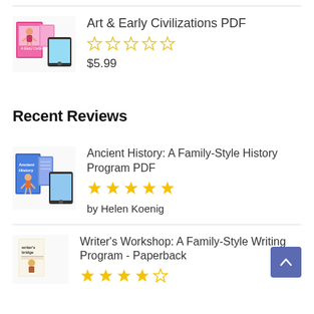[Figure (photo): Product image for Art & Early Civilizations PDF showing book covers and tablet]
Art & Early Civilizations PDF
★★★★★ (empty stars, 0 rating)
$5.99
Recent Reviews
[Figure (photo): Product image for Ancient History: A Family-Style History Program PDF showing book covers and tablet]
Ancient History: A Family-Style History Program PDF
★★★★★ (5 stars)
by Helen Koenig
[Figure (photo): Product image for Writer's Workshop: A Family-Style Writing Program - Paperback]
Writer's Workshop: A Family-Style Writing Program - Paperback
★★★★☆ (partial stars shown)